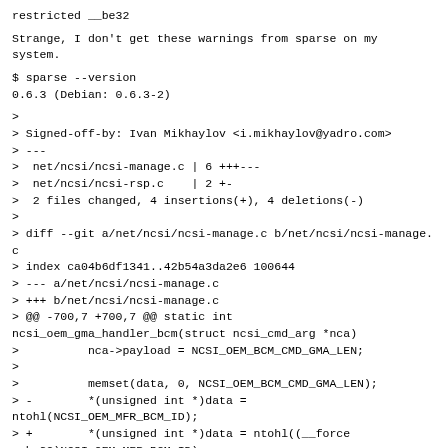restricted __be32
Strange, I don't get these warnings from sparse on my system.
$ sparse --version
0.6.3 (Debian: 0.6.3-2)
>
> Signed-off-by: Ivan Mikhaylov <i.mikhaylov@yadro.com>
> ---
>  net/ncsi/ncsi-manage.c | 6 +++---
>  net/ncsi/ncsi-rsp.c    | 2 +-
>  2 files changed, 4 insertions(+), 4 deletions(-)
>
> diff --git a/net/ncsi/ncsi-manage.c b/net/ncsi/ncsi-manage.c
> index ca04b6df1341..42b54a3da2e6 100644
> --- a/net/ncsi/ncsi-manage.c
> +++ b/net/ncsi/ncsi-manage.c
> @@ -700,7 +700,7 @@ static int ncsi_oem_gma_handler_bcm(struct ncsi_cmd_arg *nca)
>          nca->payload = NCSI_OEM_BCM_CMD_GMA_LEN;
>
>          memset(data, 0, NCSI_OEM_BCM_CMD_GMA_LEN);
> -        *(unsigned int *)data = ntohl(NCSI_OEM_MFR_BCM_ID);
> +        *(unsigned int *)data = ntohl((__force __be32)NCSI_OEM_MFR_BCM_ID);